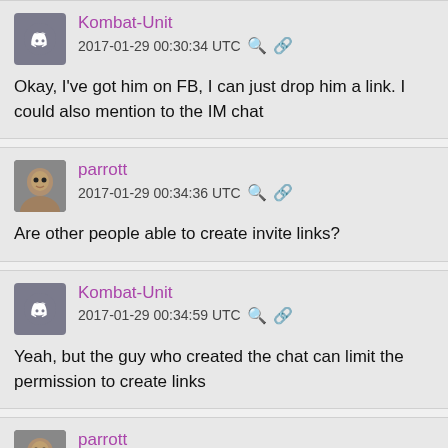Kombat-Unit
2017-01-29 00:30:34 UTC
Okay, I've got him on FB, I can just drop him a link. I could also mention to the IM chat
parrott
2017-01-29 00:34:36 UTC
Are other people able to create invite links?
Kombat-Unit
2017-01-29 00:34:59 UTC
Yeah, but the guy who created the chat can limit the permission to create links
parrott